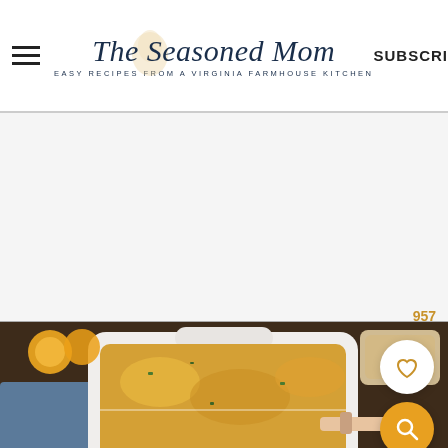The Seasoned Mom — EASY RECIPES FROM A VIRGINIA FARMHOUSE KITCHEN — SUBSCRIBE
[Figure (photo): Food photo: overhead shot of a cheesy casserole dish (baked pasta or lasagna) in a white baking dish being served, with orange juice glasses and bread visible. The photo extends into the lower portion of the page.]
957